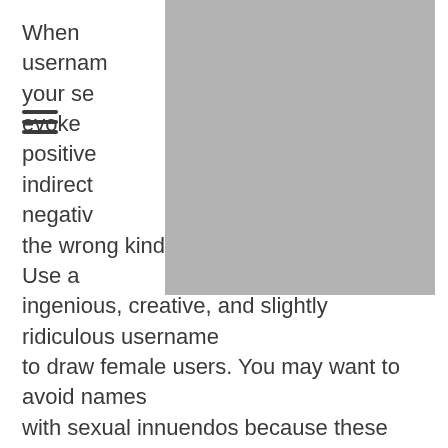When [obscured] seeing usernames [obscured] t feeling about your se[obscured] ne ought to evoke positive [obscured] personality indirect[obscured] text that stir up negativ[obscured] they will attract the wrong kind of user dating profiles. Use a ingenious, creative, and slightly ridiculous username to draw female users. You may want to avoid names with sexual innuendos because these types of will make persons cringe whether or not your profile is true.

A good username ought to be easy to type and remember. It should reflect your true self and not produce the wrong warning. Avoid using ideas that